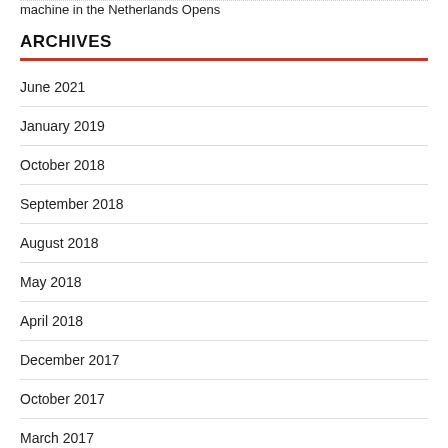machine in the Netherlands Opens
ARCHIVES
June 2021
January 2019
October 2018
September 2018
August 2018
May 2018
April 2018
December 2017
October 2017
March 2017
February 2017